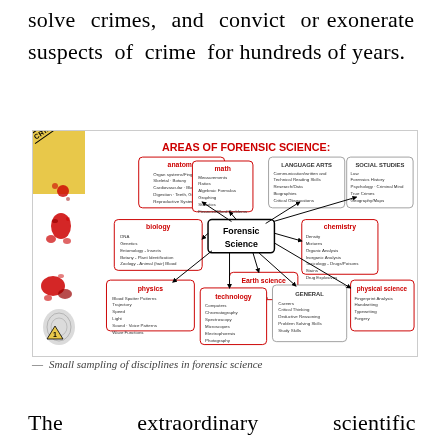solve crimes, and convict or exonerate suspects of crime for hundreds of years.
[Figure (infographic): Mind map titled 'Areas of Forensic Science' showing Forensic Science at center connected to anatomy, math, biology, physics, technology, Earth science, LANGUAGE ARTS, SOCIAL STUDIES, chemistry, physical science, and GENERAL nodes with sub-items listed in each box. Crime scene tape and blood spatter imagery on left side.]
— Small sampling of disciplines in forensic science
The extraordinary scientific